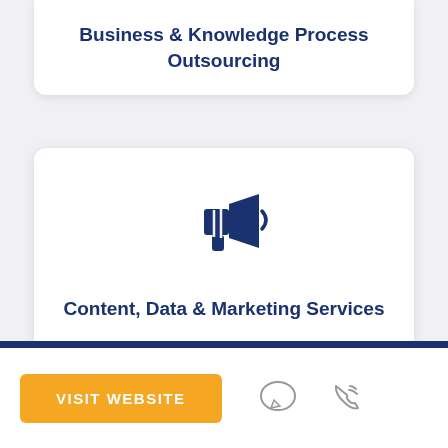Business & Knowledge Process Outsourcing
[Figure (illustration): Dark blue megaphone/bullhorn icon]
Content, Data & Marketing Services
VISIT WEBSITE